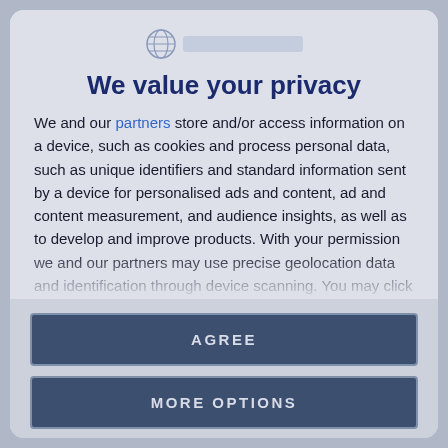[Figure (logo): Website logo with globe icon and blurred site name text bar]
We value your privacy
We and our partners store and/or access information on a device, such as cookies and process personal data, such as unique identifiers and standard information sent by a device for personalised ads and content, ad and content measurement, and audience insights, as well as to develop and improve products. With your permission we and our partners may use precise geolocation data and identification through device scanning. You may click to consent to our and our partners'
AGREE
MORE OPTIONS
DISAGREE